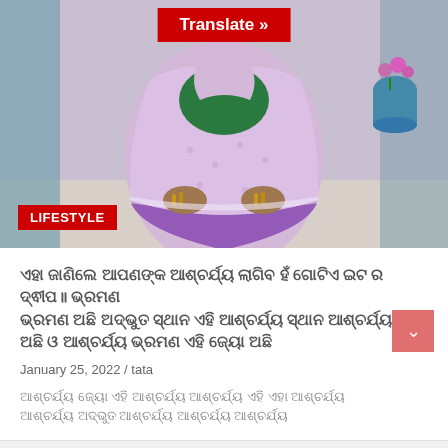[Figure (photo): Elderly woman wearing a light purple/lavender saree with a purple border and green blouse, seated, showing her hands with gold bangles. A flower pot with pink flowers is visible in the background. A red 'LIFESTYLE' badge is overlaid at the bottom left. A red 'Translate »' button is overlaid at the top center.]
ଏହା ଜାଣିଲେ ଆପଣଙ୍କ ଆଶ୍ଚର୍ଯ୍ୟ ଲାଗିବ ହଁ ଗୋଟିଏ ଇଟ ର ଦ୍ଵୀପ॥ ଭ୍ରମଣ ରି ସ୍ଥାନ ସ୍ଥାନ ଅଛି ଅଦ୍ଭୁତ ସ୍ଥାନ ଅଛି ଓ ଆଶ୍ଚର୍ଯ୍ୟ ଭ୍ରମଣ ଏହି ଜ୍ୟୋ ଅଛି
January 25, 2022 / tata
ଆଶ୍ଚର୍ଯ୍ୟ ଜ୍ୟୋ ଏହି ଆଶ୍ଚର୍ଯ୍ୟ ଆଶ୍ଚର୍ଯ୍ୟ ଏହି ଏହା ଆଶ୍ଚର୍ଯ୍ୟ ଆଶ୍ଚର୍ଯ୍ୟ ଅଦ୍ଭୁତ ଆଶ୍ଚର୍ଯ୍ୟ ଆଶ୍ଚର୍ଯ୍ୟ ଆଶ୍ଚର୍ଯ୍ୟ